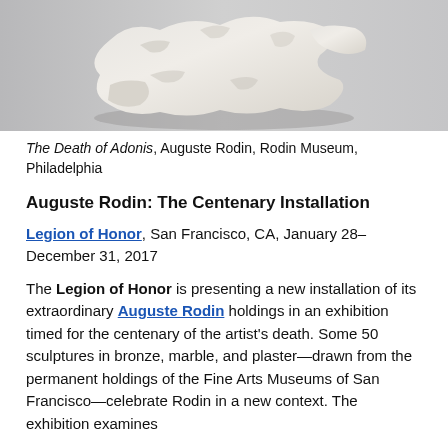[Figure (photo): A white plaster sculpture of a reclining figure (The Death of Adonis by Auguste Rodin), photographed against a gray background.]
The Death of Adonis, Auguste Rodin, Rodin Museum, Philadelphia
Auguste Rodin: The Centenary Installation
Legion of Honor, San Francisco, CA, January 28–December 31, 2017
The Legion of Honor is presenting a new installation of its extraordinary Auguste Rodin holdings in an exhibition timed for the centenary of the artist's death. Some 50 sculptures in bronze, marble, and plaster—drawn from the permanent holdings of the Fine Arts Museums of San Francisco—celebrate Rodin in a new context. The exhibition examines